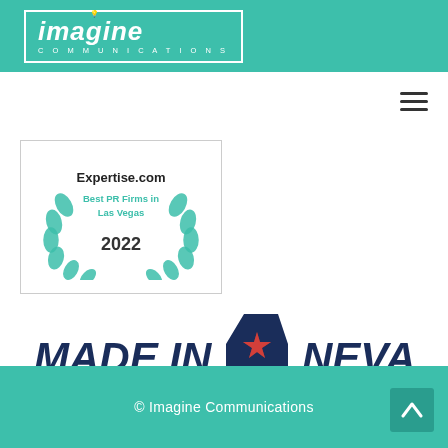[Figure (logo): Imagine Communications logo in white text inside a white border box on teal background. Text reads 'imagine' in large italic font with a light bulb dot over the 'i', and 'COMMUNICATIONS' in small spaced caps below.]
[Figure (logo): Hamburger menu icon (three horizontal lines) in the top-right navigation area.]
[Figure (logo): Expertise.com badge with laurel wreath in teal. Text reads 'Expertise.com Best PR Firms in Las Vegas 2022']
[Figure (logo): Made In Nevada logo: bold dark blue italic text 'MADE IN NEVADA' with a Nevada state shape icon containing a red star in the center between the words IN and NEVADA.]
© Imagine Communications